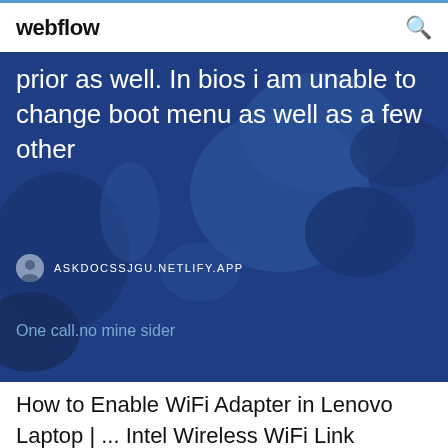webflow
prior as well. In bios i am unable to change boot menu as well as a few other
ASKDOCSSJGU.NETLIFY.APP
One call.no mine sider
How to Enable WiFi Adapter in Lenovo Laptop | ... Intel Wireless WiFi Link Adapters driver for ... - Lenovo